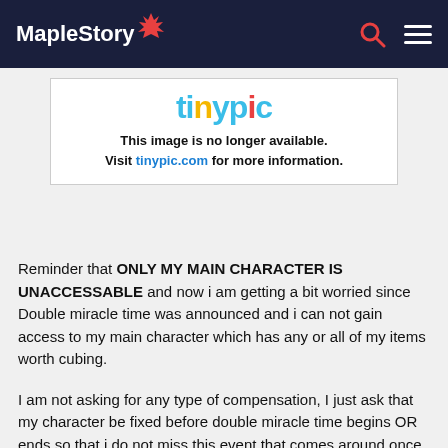MapleStory
[Figure (logo): Tinypic logo with colorful letters and a message 'This image is no longer available. Visit tinypic.com for more information.']
Reminder that ONLY MY MAIN CHARACTER IS UNACCESSABLE and now i am getting a bit worried since Double miracle time was announced and i can not gain access to my main character which has any or all of my items worth cubing.
I am not asking for any type of compensation, I just ask that my character be fixed before double miracle time begins OR ends so that i do not miss this event that comes around once every 6 months.